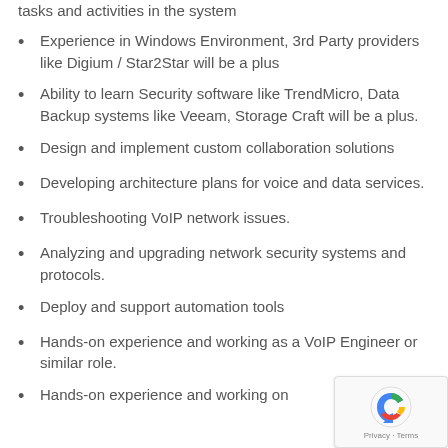tasks and activities in the system
Experience in Windows Environment, 3rd Party providers like Digium / Star2Star will be a plus
Ability to learn Security software like TrendMicro, Data Backup systems like Veeam, Storage Craft will be a plus.
Design and implement custom collaboration solutions
Developing architecture plans for voice and data services.
Troubleshooting VoIP network issues.
Analyzing and upgrading network security systems and protocols.
Deploy and support automation tools
Hands-on experience and working as a VoIP Engineer or similar role.
Hands-on experience and working on